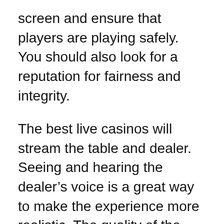screen and ensure that players are playing safely. You should also look for a reputation for fairness and integrity.
The best live casinos will stream the table and dealer. Seeing and hearing the dealer’s voice is a great way to make the experience more realistic. The quality of the video is very important, as well as the speed of interaction. You should also make sure the live streaming is high enough to allow you to interact with the dealer. A low-quality video will make it difficult to see the dealer and